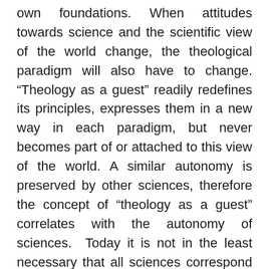own foundations. When attitudes towards science and the scientific view of the world change, the theological paradigm will also have to change. “Theology as a guest” readily redefines its principles, expresses them in a new way in each paradigm, but never becomes part of or attached to this view of the world. A similar autonomy is preserved by other sciences, therefore the concept of “theology as a guest” correlates with the autonomy of sciences.  Today it is not in the least necessary that all sciences correspond to a single scientific paradigm. Of course it is naïve to demand conformity to the principles of